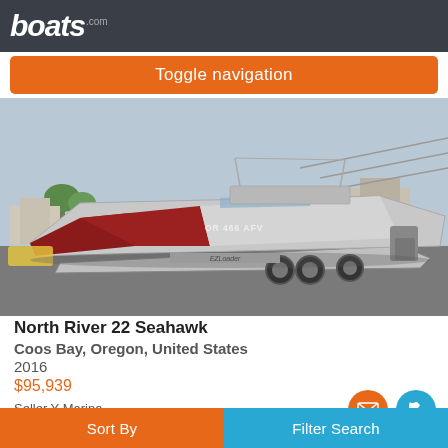boats.com
Toggle navigation
[Figure (photo): Aluminum fishing boat (North River 22 Seahawk, 2016) on a trailer in a parking lot. The boat has a red lower hull, silver aluminum upper, and registration number OR 466 AFV visible. Trailer appears to be an EZ Loader brand.]
North River 22 Seahawk
Coos Bay, Oregon, United States
2016
$95,939
Seller Y Marina
Sort By | Filter Search